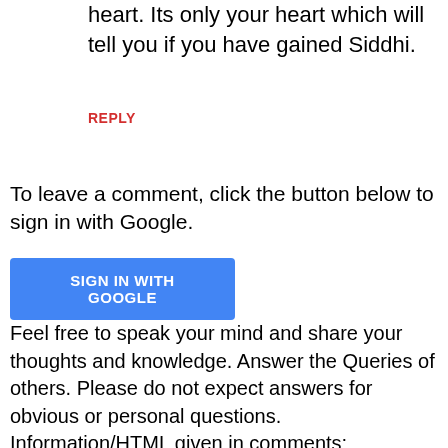do it from the bottom of your heart. Its only your heart which will tell you if you have gained Siddhi.
REPLY
To leave a comment, click the button below to sign in with Google.
[Figure (other): Blue 'SIGN IN WITH GOOGLE' button]
Feel free to speak your mind and share your thoughts and knowledge. Answer the Queries of others. Please do not expect answers for obvious or personal questions. Information/HTML given in comments; especially on Vashikaran, Mohini, Yakshinis, Akarshan, Occult, Witchcraft, Hex and Voodoo Spells, Black Magic Mantra, Tantra , Jadu- Tona